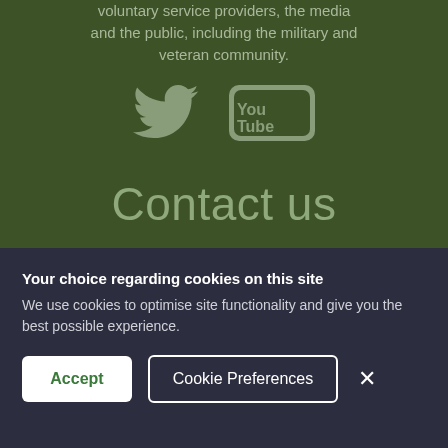voluntary service providers, the media and the public, including the military and veteran community.
[Figure (illustration): Twitter bird icon and YouTube logo icons in muted green/grey color on dark green background]
Contact us
Your choice regarding cookies on this site
We use cookies to optimise site functionality and give you the best possible experience.
Accept | Cookie Preferences | ×